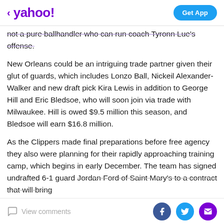< yahoo! | Get App
not a pure ballhandler who can run coach Tyronn Lue's offense.
New Orleans could be an intriguing trade partner given their glut of guards, which includes Lonzo Ball, Nickeil Alexander-Walker and new draft pick Kira Lewis in addition to George Hill and Eric Bledsoe, who will soon join via trade with Milwaukee. Hill is owed $9.5 million this season, and Bledsoe will earn $16.8 million.
As the Clippers made final preparations before free agency they also were planning for their rapidly approaching training camp, which begins in early December. The team has signed undrafted 6-1 guard Jordan Ford of Saint Mary's to a contract that will bring
View comments